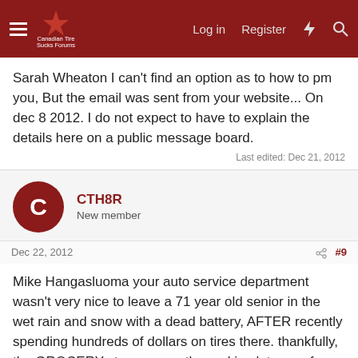Canadian Tire Sucks Forum — Log in | Register
Sarah Wheaton I can't find an option as to how to pm you, But the email was sent from your website... On dec 8 2012. I do not expect to have to explain the details here on a public message board.
Last edited: Dec 21, 2012
CTH8R — New member
Dec 22, 2012  #9
Mike Hangasluoma your auto service department wasn't very nice to leave a 71 year old senior in the wet rain and snow with a dead battery, AFTER recently spending hundreds of dollars on tires there. thankfully, the GROCERY store across the parking lot was of better assistance.
CTH8R